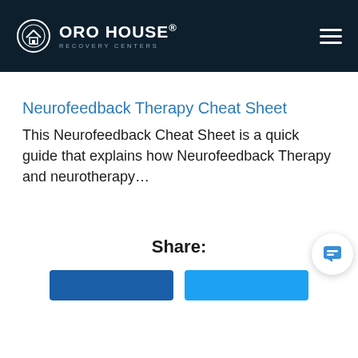ORO HOUSE® RECOVERY CENTERS
Neurofeedback Therapy Cheat Sheet
This Neurofeedback Cheat Sheet is a quick guide that explains how Neurofeedback Therapy and neurotherapy…
Share: